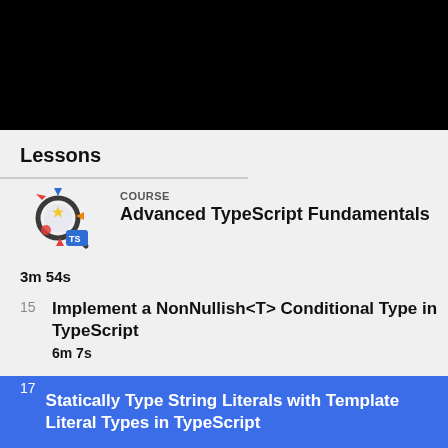Lessons
[Figure (logo): Advanced TypeScript Fundamentals course logo with colorful magnifying glass icon]
COURSE
Advanced TypeScript Fundamentals
3m 54s
15  Implement a NonNullish<T> Conditional Type in TypeScript
6m 7s
16  Implement a ReturnTypeOf<T> Conditional Type in TypeScript
3m 23s
17  Statically Type String Literals with Template Literal Types in TypeScript